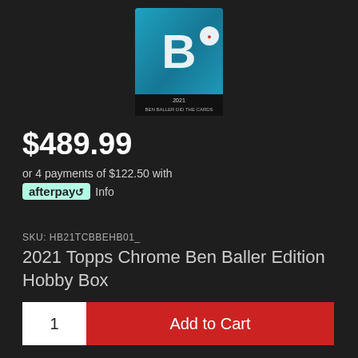[Figure (photo): Product photo of 2021 Topps Chrome Ben Baller Edition Hobby Box trading card set, showing the box packaging with teal/blue sparkle design and a large 'B' letter logo, with '2021 BEN BALLER DID THE CARDS' text visible on the box]
$489.99
or 4 payments of $122.50 with afterpay Info
SKU: HB21TCBBEHB01_
2021 Topps Chrome Ben Baller Edition Hobby Box
1  Add to Cart